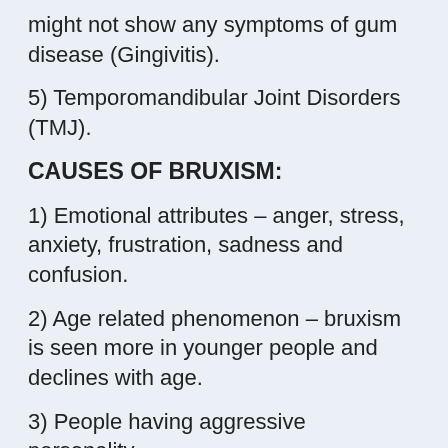might not show any symptoms of gum disease (Gingivitis).
5) Temporomandibular Joint Disorders (TMJ).
CAUSES OF BRUXISM:
1) Emotional attributes – anger, stress, anxiety, frustration, sadness and confusion.
2) Age related phenomenon – bruxism is seen more in younger people and declines with age.
3) People having aggressive personality.
4) People having asymmetric teeth.
5) Some medications like anti-psychotics and anti-depressants may also cause bruxism. Most